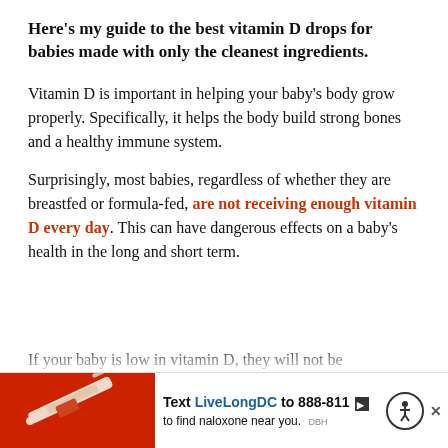Here's my guide to the best vitamin D drops for babies made with only the cleanest ingredients.
Vitamin D is important in helping your baby's body grow properly. Specifically, it helps the body build strong bones and a healthy immune system.
Surprisingly, most babies, regardless of whether they are breastfed or formula-fed, are not receiving enough vitamin D every day. This can have dangerous effects on a baby's health in the long and short term.
If your baby is low in vitamin D, they will not be able to...
[Figure (other): Advertisement banner: Text LiveLongDC to 888-811 to find naloxone near you. Features a red background with a medical syringe image, alongside accessibility icon and close button.]